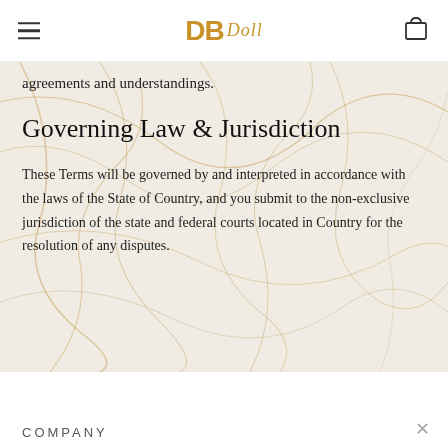DB Doll
agreements and understandings.
Governing Law & Jurisdiction
These Terms will be governed by and interpreted in accordance with the laws of the State of Country, and you submit to the non-exclusive jurisdiction of the state and federal courts located in Country for the resolution of any disputes.
COMPANY